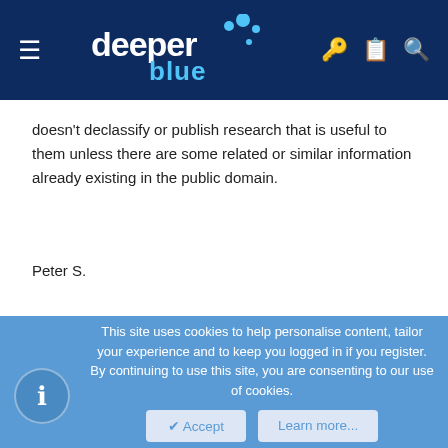deeper blue (website header)
doesn't declassify or publish research that is useful to them unless there are some related or similar information already existing in the public domain.
Peter S.
efattah
Well-Known Member
Oct 21, 2004  #11
This site uses cookies to help personalise content, tailor your experience and to keep you logged in if you register.
By continuing to use this site, you are consenting to our use of cookies.